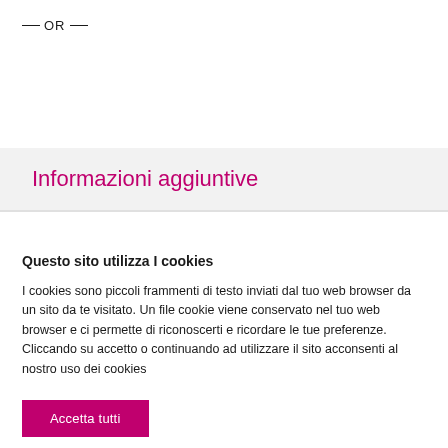— OR —
Informazioni aggiuntive
Questo sito utilizza I cookies
I cookies sono piccoli frammenti di testo inviati dal tuo web browser da un sito da te visitato. Un file cookie viene conservato nel tuo web browser e ci permette di riconoscerti e ricordare le tue preferenze. Cliccando su accetto o continuando ad utilizzare il sito acconsenti al nostro uso dei cookies
Accetta tutti